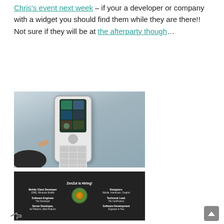Chris's event next week – if your a developer or company with a widget you should find them while they are there!! Not sure if they will be at the afterparty though…
[Figure (photo): Photo of a Nokia-style mobile phone being held/pointed at, displayed on a projection screen. The phone has a touchscreen showing app icons and a physical keypad. A hand is visible pointing at the phone.]
[Figure (photo): Photo of a dark presentation slide titled 'ZenZui is Hiring!' showing a grid of job positions including Mobile Client Developer, Designers, Software Engineer Tile Developer, Technical Lead Tile Certification, Server Developer Ad Platform Web Platform, and Software Development Engineer in Test, with a ZenZui logo in the center.]
[Figure (other): Share icon (forward arrow) at the bottom left of the page.]